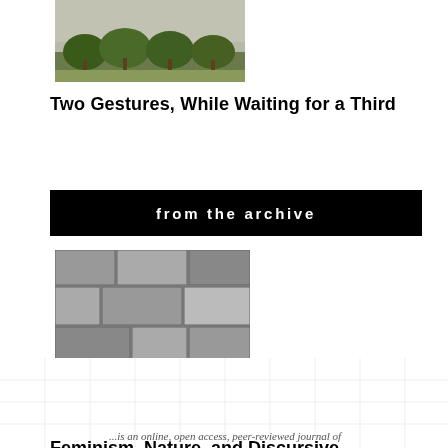[Figure (photo): Landscape thumbnail showing trees and foliage with a textured sky]
Two Gestures, While Waiting for a Third
from the archive
[Figure (photo): Black and white photograph of stone wall texture with organic draping forms]
Feminism, Nature, and Discursive Ecologies
by Stacy Alaimo
...is an online, open access, peer-reviewed journal of